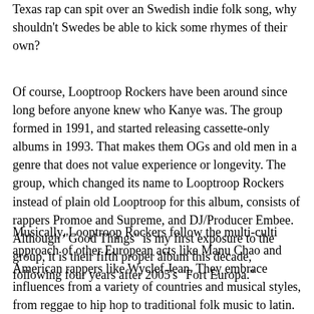Texas rap can spit over an Swedish indie folk song, why shouldn't Swedes be able to kick some rhymes of their own?
Of course, Looptroop Rockers have been around since long before anyone knew who Kanye was. The group formed in 1991, and started releasing cassette-only albums in 1993. That makes them OGs and old men in a genre that does not value experience or longevity. The group, which changed its name to Looptroop Rockers instead of plain old Looptroop for this album, consists of rappers Promoe and Supreme, and DJ/Producer Embee. Although "Good Things" is my first exposure to the group, it is their fifth proper album this decade, following four years after 2005's "Fort Europa."
Musically, Looptroop Rockers follow the multi-culti approach of other European acts like Manu Chao and American rappers like Wyclef Jean. They embrace influences from a variety of countries and musical styles, from reggae to hip hop to traditional folk music to latin. Promoe himself is a big white rasta, and that reggae vibe works itself into a lot of the songs on the album. There is also touches of the Black Eyed Peas type accessibility, and I enjoy